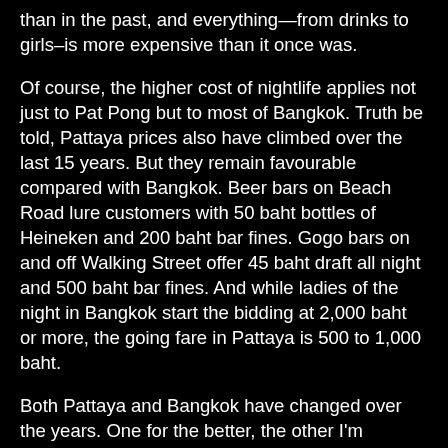than in the past, and everything—from drinks to girls–is more expensive than it once was.
Of course, the higher cost of nightlife applies not just to Pat Pong but to most of Bangkok. Truth be told, Pattaya prices also have climbed over the last 15 years. But they remain favourable compared with Bangkok. Beer bars on Beach Road lure customers with 50 baht bottles of Heineken and 200 baht bar fines. Gogo bars on and off Walking Street offer 45 baht draft all night and 500 baht bar fines. And while ladies of the night in Bangkok start the bidding at 2,000 baht or more, the going fare in Pattaya is 500 to 1,000 baht.
Both Pattaya and Bangkok have changed over the years. One for the better, the other I'm honestly not sure about. I can recall a time when the Thermae was an inviting coffee shop where farang could